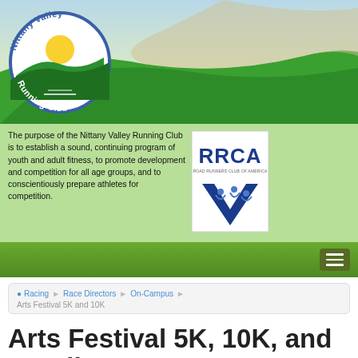[Figure (logo): Nittany Valley Running Club logo — circular blue border with text 'Nittany Valley Running Club', sun rising over green hills illustration inside]
The purpose of the Nittany Valley Running Club is to establish a sound, continuing program of youth and adult fitness, to promote development and competition for all age groups, and to conscientiously prepare athletes for competition.
[Figure (logo): RRCA (Road Runners Club of America) logo — blue text 'RRCA' with runners silhouette in a triangle/chevron below]
Racing > Race Directors > On-Campus
Arts Festival 5K and 10K
Arts Festival 5K, 10K, and 10 Mile Courses